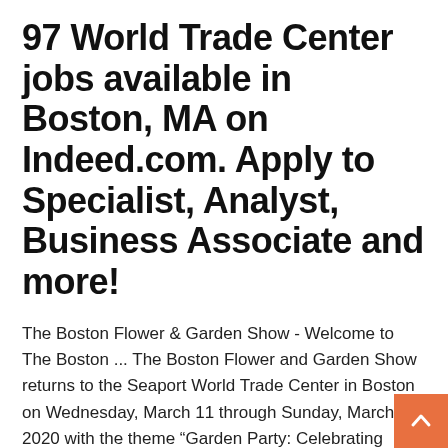97 World Trade Center jobs available in Boston, MA on Indeed.com. Apply to Specialist, Analyst, Business Associate and more!
The Boston Flower & Garden Show - Welcome to The Boston ... The Boston Flower and Garden Show returns to the Seaport World Trade Center in Boston on Wednesday, March 11 through Sunday, March 15, 2020 with the theme “Garden Party: Celebrating Friends & Family” - stay tuned for all the latest updates Dinosaur Adventure at Seaport WTC Boston 2020 – 365 things ... Dec 29, 2019 · Dinosaur Adventure is roaring into Boston, January 3rd, 4th and 5th at the Seaport World Trade Center. You don’t want to miss out on this one-of-a-kind exhibit